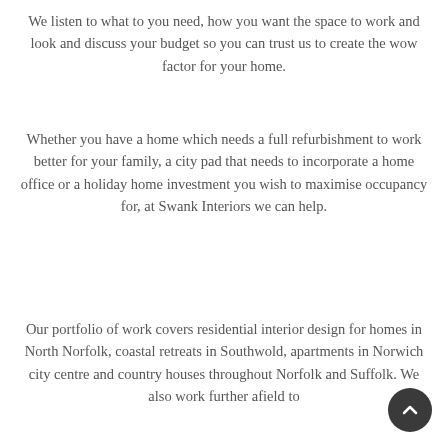We listen to what to you need, how you want the space to work and look and discuss your budget so you can trust us to create the wow factor for your home.
Whether you have a home which needs a full refurbishment to work better for your family, a city pad that needs to incorporate a home office or a holiday home investment you wish to maximise occupancy for, at Swank Interiors we can help.
Our portfolio of work covers residential interior design for homes in North Norfolk, coastal retreats in Southwold, apartments in Norwich city centre and country houses throughout Norfolk and Suffolk. We also work further afield to